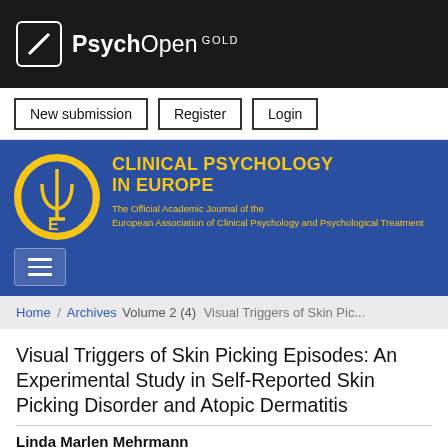[Figure (logo): PsychOpen GOLD logo on black background with white square icon and text]
New submission   Register   Login
[Figure (logo): Clinical Psychology in Europe journal header with yellow circular logo on blue background. Title: CLINICAL PSYCHOLOGY IN EUROPE. Subtitle: The Official Academic Journal of the European Association of Clinical Psychology and Psychological Treatment]
Home / Archives Volume 2 (4) Visual Triggers of Skin Pic...
Visual Triggers of Skin Picking Episodes: An Experimental Study in Self-Reported Skin Picking Disorder and Atopic Dermatitis
Linda Marlen Mehrmann